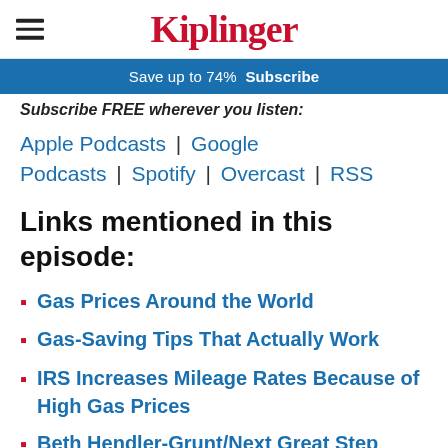Kiplinger
Save up to 74%  Subscribe
Subscribe FREE wherever you listen:
Apple Podcasts | Google Podcasts | Spotify | Overcast | RSS
Links mentioned in this episode:
Gas Prices Around the World
Gas-Saving Tips That Actually Work
IRS Increases Mileage Rates Because of High Gas Prices
Beth Hendler-Grunt/Next Great Step
Career Advice For New College Grads